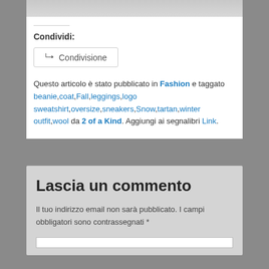[Figure (photo): Partial image at top of card, appears to be a fashion/clothing photo, mostly cropped out]
Condividi:
Condivisione (share button)
Questo articolo è stato pubblicato in Fashion e taggato beanie,coat,Fall,leggings,logo sweatshirt,oversize,sneakers,Snow,tartan,winter outfit,wool da 2 of a Kind. Aggiungi ai segnalibri Link.
Lascia un commento
Il tuo indirizzo email non sarà pubblicato. I campi obbligatori sono contrassegnati *